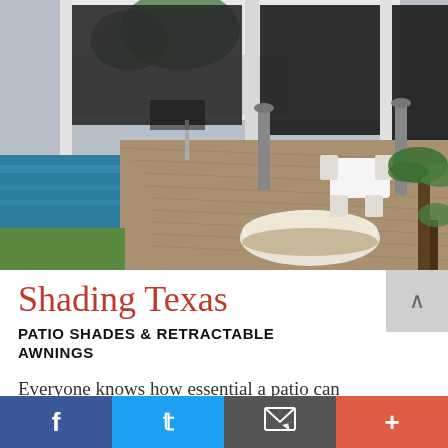[Figure (photo): Luxury outdoor patio with a modern home exterior. Features a swimming pool on the left, a wood-plank deck, round white daybed/ottoman in the foreground, white dining table and chairs in the middle, and large retractable dark patio shades/screens attached to the house. Palm plants visible on the right.]
Shading Texas
PATIO SHADES & RETRACTABLE AWNINGS
Everyone knows how essential a patio can be, from sipping coffee in the morning to